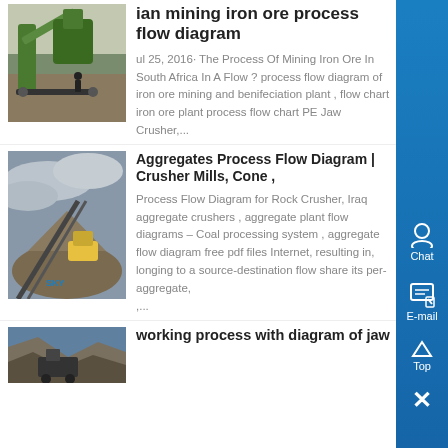[Figure (photo): Mining/crushing equipment - green conveyor and machinery]
indian mining iron ore process flow diagram
ul 25, 2016· The Process Of Mining Iron Ore In South Africa In A Flow ? process flow diagram of iron ore mining and benifeciation plant , flow chart iron ore plant process flow chart PE Jaw Crusher,...
[Figure (photo): Aggregate crushing plant with conveyor belts against cloudy sky, SKY logo]
Aggregates Process Flow Diagram | Crusher Mills, Cone ,
Process Flow Diagram for Rock Crusher, Iraq aggregate crushers , aggregate plant flow diagrams – Coal processing system , aggregate flow diagram free pdf files Internet, resulting in, longing to a source-destination flow share its per-aggregate, ,...
[Figure (photo): Quarry/jaw crusher operation photo, partial view at bottom]
working process with diagram of jaw